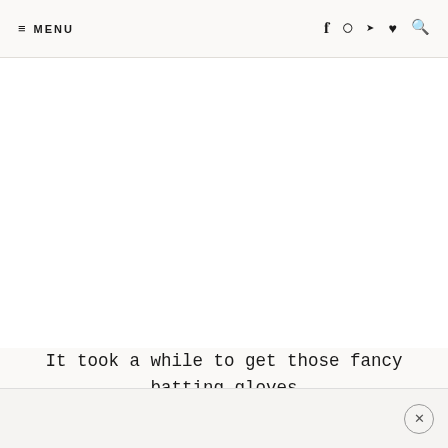≡ MENU  [social icons: Facebook, Instagram, Telegram, Heart, Search]
It took a while to get those fancy batting gloves on!  ha!  He needs some to work on that too!
[close button ×]